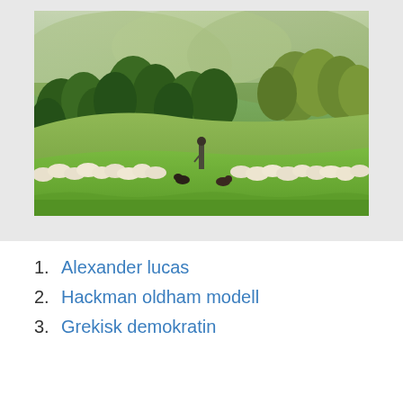[Figure (photo): A shepherd standing in a green hilly meadow with a large flock of sheep and a dog, surrounded by trees in the background.]
1. Alexander lucas
2. Hackman oldham modell
3. Grekisk demokratin